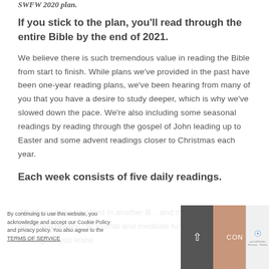SWFW 2020 plan.
If you stick to the plan, you'll read through the entire Bible by the end of 2021.
We believe there is such tremendous value in reading the Bible from start to finish. While plans we've provided in the past have been one-year reading plans, we've been hearing from many of you that you have a desire to study deeper, which is why we've slowed down the pace. We're also including some seasonal readings by reading through the gospel of John leading up to Easter and some advent readings closer to Christmas each year.
Each week consists of five daily readings.
Whether you're involved in another B... and that requires additional readin... to journal and meditate further on your reading, or you know
By continuing to use this website, you acknowledge and accept our Cookie Policy and privacy policy. You also agree to the TERMS OF SERVICE